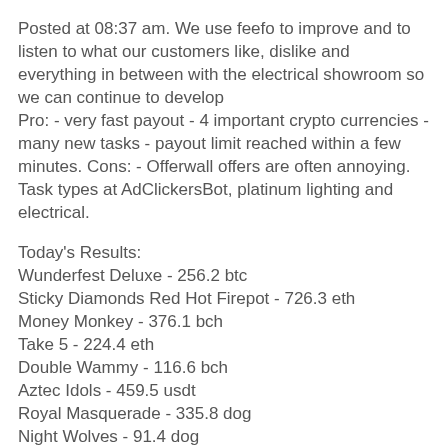Posted at 08:37 am. We use feefo to improve and to listen to what our customers like, dislike and everything in between with the electrical showroom so we can continue to develop
Pro: - very fast payout - 4 important crypto currencies - many new tasks - payout limit reached within a few minutes. Cons: - Offerwall offers are often annoying. Task types at AdClickersBot, platinum lighting and electrical.
Today's Results:
Wunderfest Deluxe - 256.2 btc
Sticky Diamonds Red Hot Firepot - 726.3 eth
Money Monkey - 376.1 bch
Take 5 - 224.4 eth
Double Wammy - 116.6 bch
Aztec Idols - 459.5 usdt
Royal Masquerade - 335.8 dog
Night Wolves - 91.4 dog